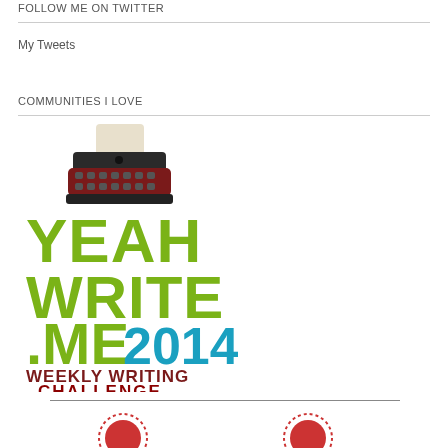FOLLOW ME ON TWITTER
My Tweets
COMMUNITIES I LOVE
[Figure (logo): Yeah Write .me 2014 Weekly Writing Challenge logo with typewriter illustration]
[Figure (illustration): Partial circular badge/seal visible at bottom of page]